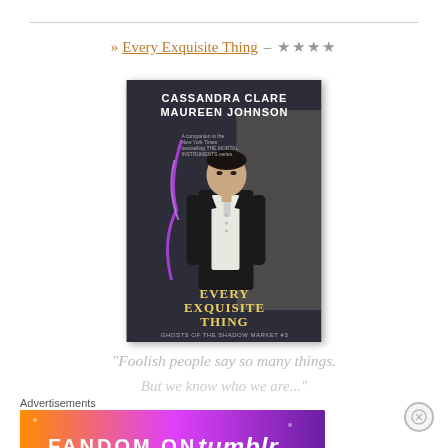Every Exquisite Thing – ★★★★
[Figure (photo): Book cover of 'Every Exquisite Thing' by Cassandra Clare and Maureen Johnson. Shows a man in formal black suit with white boutonniere and purple lightning. Ghosts of the Shadow Market series.]
“Foolish people say so many things. But we know who we are.”
Advertisements
[Figure (infographic): Fandom on Tumblr advertisement banner with colorful gradient background (orange to purple).]